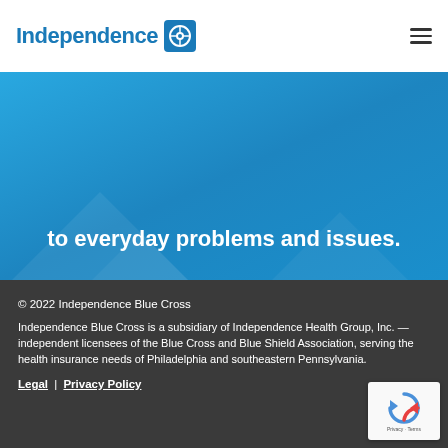Independence Blue Cross [logo] [hamburger menu]
to everyday problems and issues.
© 2022 Independence Blue Cross
Independence Blue Cross is a subsidiary of Independence Health Group, Inc. — independent licensees of the Blue Cross and Blue Shield Association, serving the health insurance needs of Philadelphia and southeastern Pennsylvania.
Legal | Privacy Policy
[Figure (logo): reCAPTCHA badge with circular arrow icon and Privacy - Terms text]